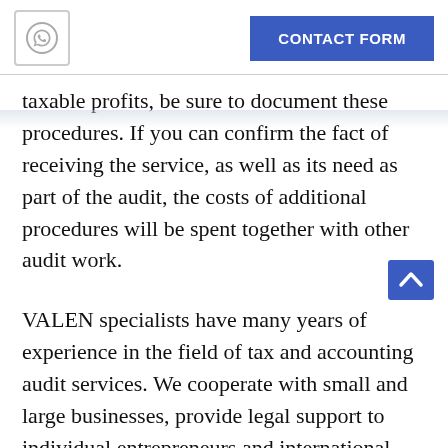CONTACT FORM
taxable profits, be sure to document these procedures. If you can confirm the fact of receiving the service, as well as its need as part of the audit, the costs of additional procedures will be spent together with other audit work.
VALEN specialists have many years of experience in the field of tax and accounting audit services. We cooperate with small and large businesses, provide legal support to individual entrepreneurs and international corporations. To get a consultation, leave a request on the website or dial: +7 (495) 7-888-096! We are also waiting for you at our office in Moscow.